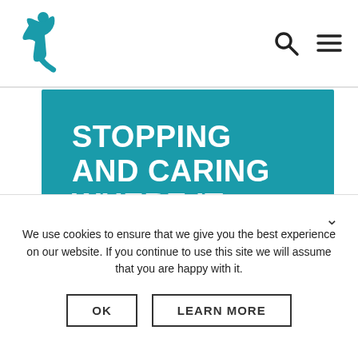[Figure (logo): Teal silhouette of a jumping figure logo in the top left header]
STOPPING AND CARING WHERE IT MAKES A DIFFERENCE
GENDER EQUAL SPORTS (partially visible, second banner)
We use cookies to ensure that we give you the best experience on our website. If you continue to use this site we will assume that you are happy with it.
OK
LEARN MORE